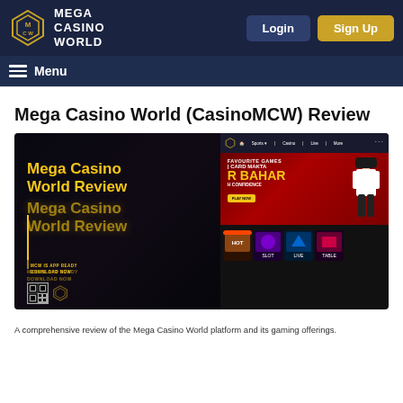[Figure (screenshot): Mega Casino World website header with logo on left, Login and Sign Up buttons on right, on dark navy background]
Menu
Mega Casino World (CasinoMCW) Review
[Figure (screenshot): Screenshot of Mega Casino World website showing review page with golden text 'Mega Casino World Review' on dark background on left, and the actual casino website on right showing 'FAVOURITE GAMES CARD MAKTA R BAHAR H CONFIDENCE PLAY NOW' banner with a female character and game thumbnails below]
A screenshot showing the Mega Casino World review and website interface